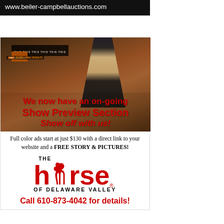[Figure (photo): Top banner with auction services website URL on dark background]
[Figure (photo): Photo of a horse and rider at a show, with red promotional text overlay reading 'We now have an on-going Show Preview Section Show off with us!']
Full color ads start at just $130 with a direct link to your website and a FREE STORY & PICTURES!
[Figure (logo): The Horse of Delaware Valley logo with red horse silhouette]
Call 610-873-4042 for details!